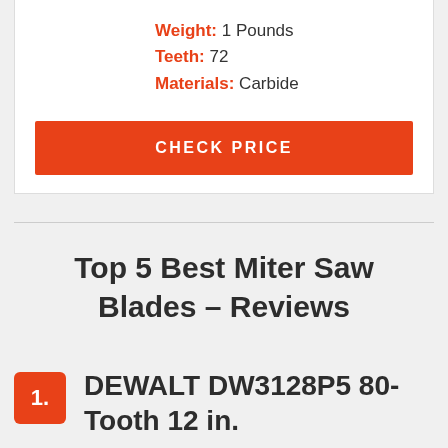Weight: 1 Pounds
Teeth: 72
Materials: Carbide
CHECK PRICE
Top 5 Best Miter Saw Blades – Reviews
1. DEWALT DW3128P5 80-Tooth 12 in.